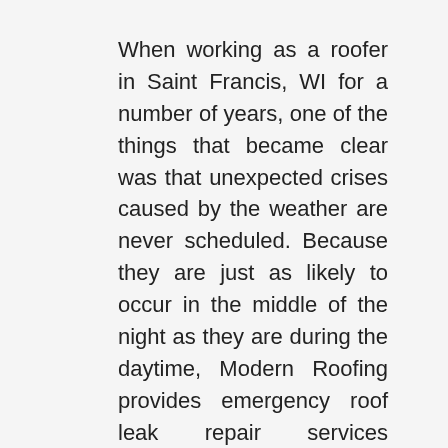When working as a roofer in Saint Francis, WI for a number of years, one of the things that became clear was that unexpected crises caused by the weather are never scheduled. Because they are just as likely to occur in the middle of the night as they are during the daytime, Modern Roofing provides emergency roof leak repair services throughout, to aid customers who are in need of assistance outside of regular business hours in Saint Francis.
We guarantee that there will be technicians available 24 hours a day, seven days a week, regardless of the time of year, so that you won't be left out in the cold, in the rain, in the sleet, or in the hail, or in any other type of inclement weather that Mother Nature may